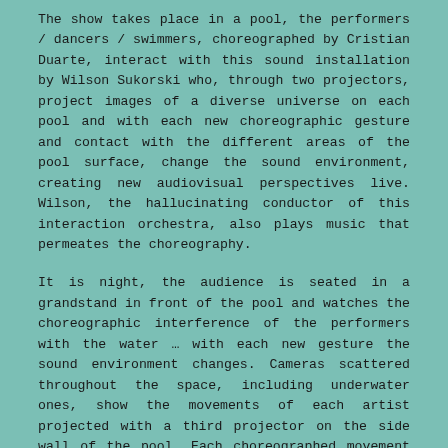The show takes place in a pool, the performers / dancers / swimmers, choreographed by Cristian Duarte, interact with this sound installation by Wilson Sukorski who, through two projectors, project images of a diverse universe on each pool and with each new choreographic gesture and contact with the different areas of the pool surface, change the sound environment, creating new audiovisual perspectives live. Wilson, the hallucinating conductor of this interaction orchestra, also plays music that permeates the choreography.
It is night, the audience is seated in a grandstand in front of the pool and watches the choreographic interference of the performers with the water … with each new gesture the sound environment changes. Cameras scattered throughout the space, including underwater ones, show the movements of each artist projected with a third projector on the side wall of the pool. Each choreographed movement can be followed and correlated with the sound changes in the environment.
Esther Williams (1921-2013), a great connoisseur of waters and cinema is who instigates the choreography of Cristian Duarte. In this great aquatic touch screen, the senses are heightened by the ear and vision through the touch of the choreography, bringing to the viewer the building multiverses of the minds of these two talented contemporary artists. An unprecedented work in the world and that re-signifies the use of an unconventional space as